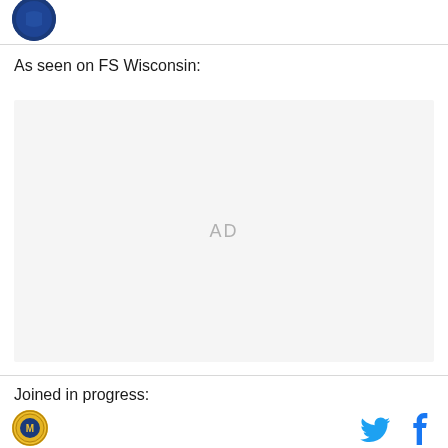[Figure (logo): Circular dark blue logo in top left corner]
As seen on FS Wisconsin:
[Figure (other): AD placeholder area with light gray background]
Joined in progress:
[Figure (logo): Milwaukee Brewers circular logo in footer]
[Figure (other): Twitter and Facebook social media icons in footer]